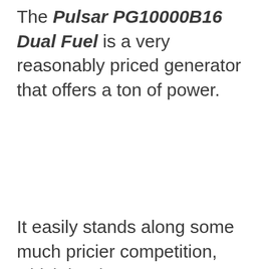The Pulsar PG10000B16 Dual Fuel is a very reasonably priced generator that offers a ton of power.
It easily stands along some much pricier competition, which is why I